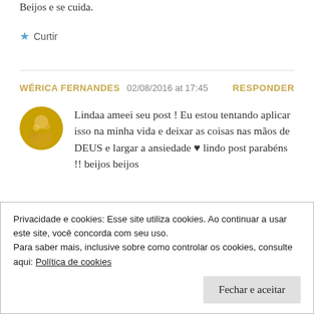Beijos e se cuida.
★ Curtir
WÉRICA FERNANDES   02/08/2016 at 17:45   RESPONDER
Lindaa ameei seu post ! Eu estou tentando aplicar isso na minha vida e deixar as coisas nas mãos de DEUS e largar a ansiedade ♥ lindo post parabéns !! beijos beijos
Privacidade e cookies: Esse site utiliza cookies. Ao continuar a usar este site, você concorda com seu uso.
Para saber mais, inclusive sobre como controlar os cookies, consulte aqui: Política de cookies
Fechar e aceitar